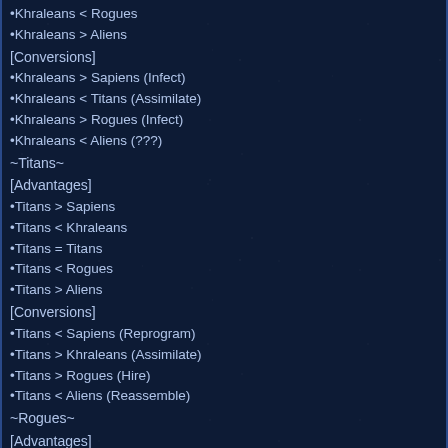•Khraleans < Rogues
•Khraleans > Aliens
[Conversions]
•Khraleans > Sapiens (Infect)
•Khraleans < Titans (Assimilate)
•Khraleans > Rogues (Infect)
•Khraleans < Aliens (???)
~Titans~
[Advantages]
•Titans > Sapiens
•Titans < Khraleans
•Titans = Titans
•Titans < Rogues
•Titans > Aliens
[Conversions]
•Titans < Sapiens (Reprogram)
•Titans > Khraleans (Assimilate)
•Titans > Rogues (Hire)
•Titans < Aliens (Reassemble)
~Rogues~
[Advantages]
•Rogues < Sapiens
•Rogues > Khraleans
•Rogues >Titans
•Rogues = Rogues